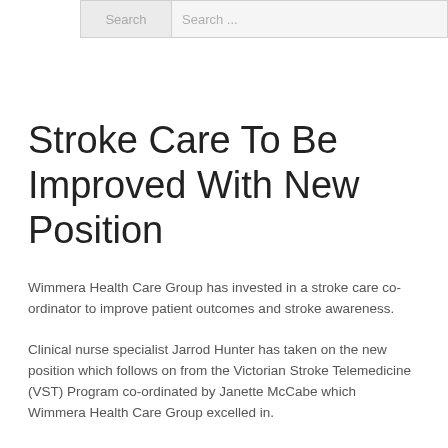Search | Search ...
Stroke Care To Be Improved With New Position
Wimmera Health Care Group has invested in a stroke care co-ordinator to improve patient outcomes and stroke awareness.
Clinical nurse specialist Jarrod Hunter has taken on the new position which follows on from the Victorian Stroke Telemedicine (VST) Program co-ordinated by Janette McCabe which Wimmera Health Care Group excelled in.